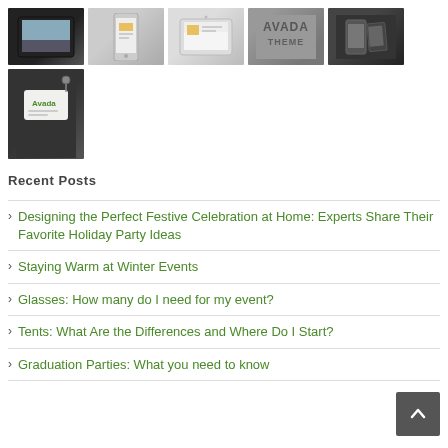[Figure (photo): Gallery of 6 thumbnail images showing website/branding mockups on devices and tags]
Recent Posts
Designing the Perfect Festive Celebration at Home: Experts Share Their Favorite Holiday Party Ideas
Staying Warm at Winter Events
Glasses: How many do I need for my event?
Tents: What Are the Differences and Where Do I Start?
Graduation Parties: What you need to know